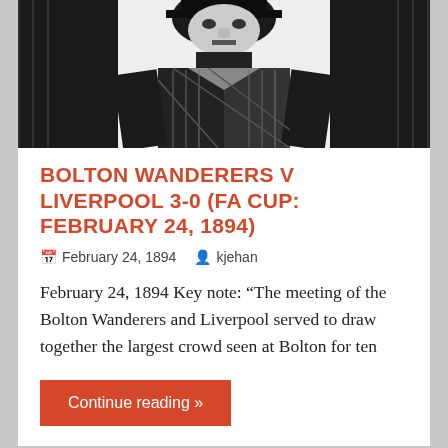[Figure (illustration): Black and white woodcut-style illustration of a person, cropped showing upper body, partially visible at top of page]
BOLTON WANDERERS V LIVERPOOL 3-0 (FA CUP: FEBRUARY 24, 1894)
February 24, 1894   kjehan
February 24, 1894 Key note: “The meeting of the Bolton Wanderers and Liverpool served to draw together the largest crowd seen at Bolton for ten
Continue reading »
A FRIENDLY DRAW BETWEEN LIVERPOOL AND